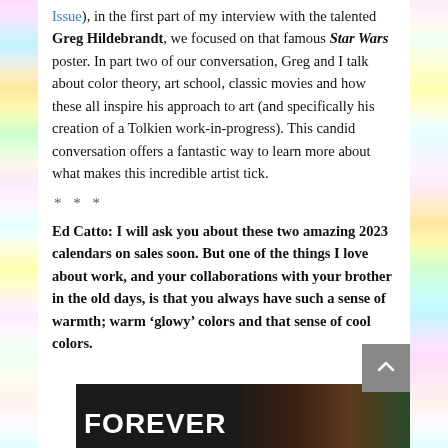Issue), in the first part of my interview with the talented Greg Hildebrandt, we focused on that famous Star Wars poster. In part two of our conversation, Greg and I talk about color theory, art school, classic movies and how these all inspire his approach to art (and specifically his creation of a Tolkien work-in-progress). This candid conversation offers a fantastic way to learn more about what makes this incredible artist tick.
* * *
Ed Catto: I will ask you about these two amazing 2023 calendars on sales soon. But one of the things I love about work, and your collaborations with your brother in the old days, is that you always have such a sense of warmth; warm ‘glowy’ colors and that sense of cool colors.
[Figure (photo): Bottom strip showing partial view of a dark image with the word FOREVER in large white bold text on the left side, and a colorful figure/artwork visible on the right.]